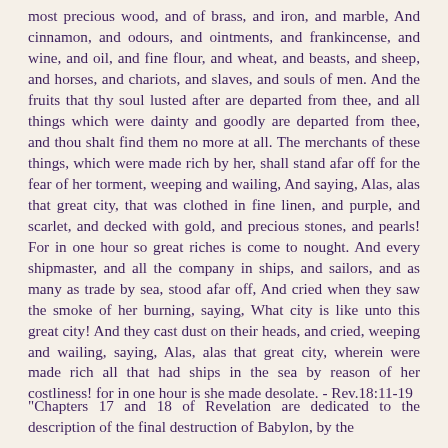most precious wood, and of brass, and iron, and marble, And cinnamon, and odours, and ointments, and frankincense, and wine, and oil, and fine flour, and wheat, and beasts, and sheep, and horses, and chariots, and slaves, and souls of men. And the fruits that thy soul lusted after are departed from thee, and all things which were dainty and goodly are departed from thee, and thou shalt find them no more at all. The merchants of these things, which were made rich by her, shall stand afar off for the fear of her torment, weeping and wailing, And saying, Alas, alas that great city, that was clothed in fine linen, and purple, and scarlet, and decked with gold, and precious stones, and pearls! For in one hour so great riches is come to nought. And every shipmaster, and all the company in ships, and sailors, and as many as trade by sea, stood afar off, And cried when they saw the smoke of her burning, saying, What city is like unto this great city! And they cast dust on their heads, and cried, weeping and wailing, saying, Alas, alas that great city, wherein were made rich all that had ships in the sea by reason of her costliness! for in one hour is she made desolate. - Rev.18:11-19
"Chapters 17 and 18 of Revelation are dedicated to the description of the final destruction of Babylon, by the